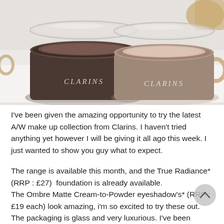[Figure (photo): Two Clarins eyeshadow pots side by side. Left pot contains dark brown/chocolate matte cream-to-powder eyeshadow, right pot contains light beige/nude matte eyeshadow. Both have clear lids and 'CLARINS' embossed in silver on the front. Background is light grey/white surface with gold packaging partially visible.]
I've been given the amazing opportunity to try the latest A/W make up collection from Clarins. I haven't tried anything yet however I will be giving it all ago this week. I just wanted to show you guy what to expect.
The range is available this month, and the True Radiance* (RRP : £27)  foundation is already available.
The Ombre Matte Cream-to-Powder eyeshadow's* (RRP :£19 each) look amazing, i'm so excited to try these out. The packaging is glass and very luxurious. I've been swatching these and I can see they are going to be easy to use and very buildable